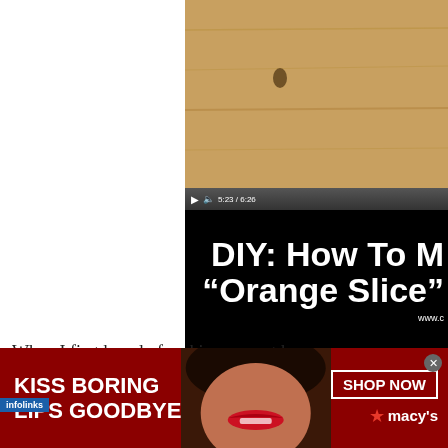[Figure (screenshot): Video player screenshot showing a YouTube-style video of 'DIY: How To Make Orange Slice' soap, with video at time 5:23/6:26. Top portion shows a wood table with an orange slice soap. Black overlay shows large white text 'DIY: How To Make Orange Slice' and www. URL.]
DIY: How To Make “Orange…
Photo – http://www.youtube.com/watch?v=…
When I first heard of making soap at home, I immediately thought of the process of making it from scratch – which I’m not even going to bother. However, after…
[Figure (photo): Advertisement banner: 'KISS BORING LIPS GOODBYE' with a woman's face with red lips and 'SHOP NOW *macy's' text on a dark red background.]